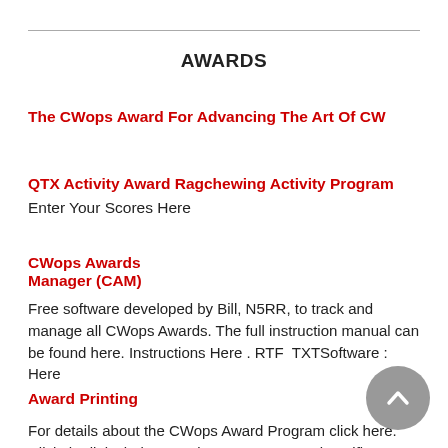AWARDS
The CWops Award For Advancing The Art Of CW
QTX Activity Award Ragchewing Activity Program
Enter Your Scores Here
CWops Awards Manager (CAM)
Free software developed by Bill, N5RR, to track and manage all CWops Awards. The full instruction manual can be found here. Instructions Here . RTF  TXTSoftware : Here
Award Printing
For details about the CWops Award Program click here. Click the links below to print your own award certificate.